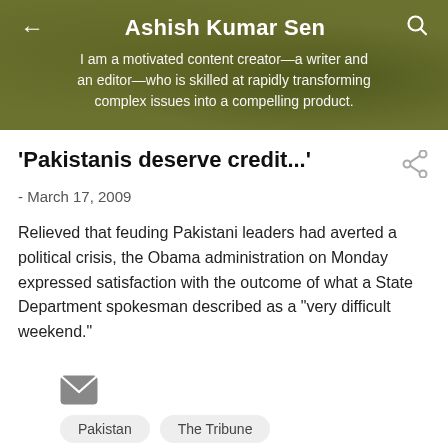Ashish Kumar Sen
I am a motivated content creator—a writer and an editor—who is skilled at rapidly transforming complex issues into a compelling product.
‘Pakistanis deserve credit...’
- March 17, 2009
Relieved that feuding Pakistani leaders had averted a political crisis, the Obama administration on Monday expressed satisfaction with the outcome of what a State Department spokesman described as a "very difficult weekend."
[Figure (other): Email icon (envelope)]
Pakistan
The Tribune